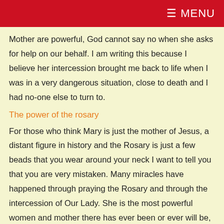≡ MENU
Mother are powerful, God cannot say no when she asks for help on our behalf. I am writing this because I believe her intercession brought me back to life when I was in a very dangerous situation, close to death and I had no-one else to turn to.
The power of the rosary
For those who think Mary is just the mother of Jesus, a distant figure in history and the Rosary is just a few beads that you wear around your neck I want to tell you that you are very mistaken. Many miracles have happened through praying the Rosary and through the intercession of Our Lady. She is the most powerful women and mother there has ever been or ever will be, believe it, live it and breathe it and you won't be disappointed. God knows what is in our